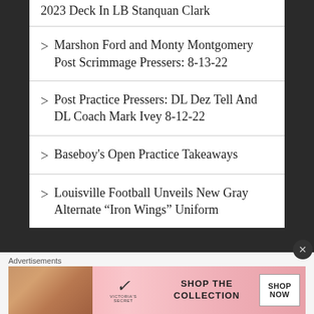2023 Deck In LB Stanquan Clark
Marshon Ford and Monty Montgomery Post Scrimmage Pressers: 8-13-22
Post Practice Pressers: DL Dez Tell And DL Coach Mark Ivey 8-12-22
Baseboy's Open Practice Takeaways
Louisville Football Unveils New Gray Alternate “Iron Wings” Uniform
Advertisements
[Figure (other): Victoria's Secret advertisement banner with model photo, VS logo, 'SHOP THE COLLECTION' text, and 'SHOP NOW' button]